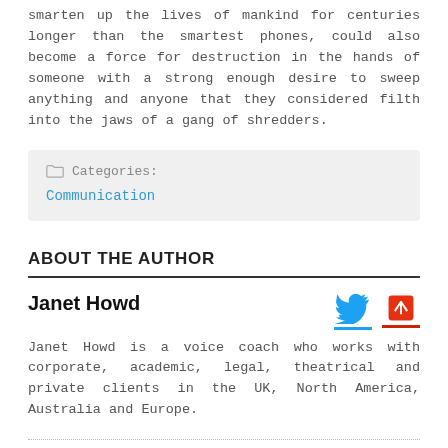smarten up the lives of mankind for centuries longer than the smartest phones, could also become a force for destruction in the hands of someone with a strong enough desire to sweep anything and anyone that they considered filth into the jaws of a gang of shredders.
Categories: Communication
ABOUT THE AUTHOR
Janet Howd
Janet Howd is a voice coach who works with corporate, academic, legal, theatrical and private clients in the UK, North America, Australia and Europe.